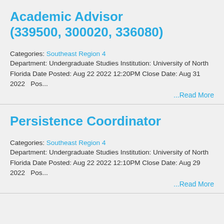Academic Advisor (339500, 300020, 336080)
Categories: Southeast Region 4
Department: Undergraduate Studies Institution: University of North Florida Date Posted: Aug 22 2022 12:20PM Close Date: Aug 31 2022   Pos...
...Read More
Persistence Coordinator
Categories: Southeast Region 4
Department: Undergraduate Studies Institution: University of North Florida Date Posted: Aug 22 2022 12:10PM Close Date: Aug 29 2022   Pos...
...Read More